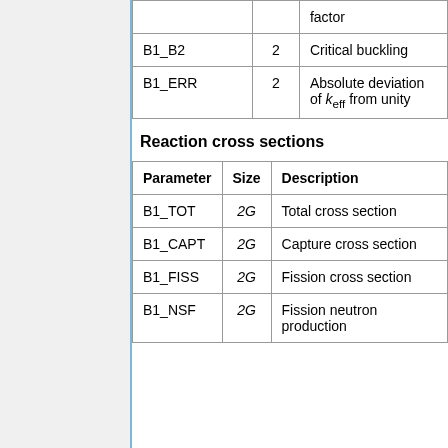| Parameter | Size | Description |
| --- | --- | --- |
|  |  | factor |
| B1_B2 | 2 | Critical buckling |
| B1_ERR | 2 | Absolute deviation of k_eff from unity |
Reaction cross sections
| Parameter | Size | Description |
| --- | --- | --- |
| B1_TOT | 2G | Total cross section |
| B1_CAPT | 2G | Capture cross section |
| B1_FISS | 2G | Fission cross section |
| B1_NSF | 2G | Fission neutron production |